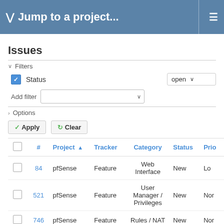Jump to a project...
Issues
Filters
Status  open
Add filter
Options
Apply  Clear
|  | # | Project | Tracker | Category | Status | Prio |
| --- | --- | --- | --- | --- | --- | --- |
|  | 84 | pfSense | Feature | Web Interface | New | Lo |
|  | 521 | pfSense | Feature | User Manager / Privileges | New | Nor |
|  | 746 | pfSense | Feature | Rules / NAT | New | Nor |